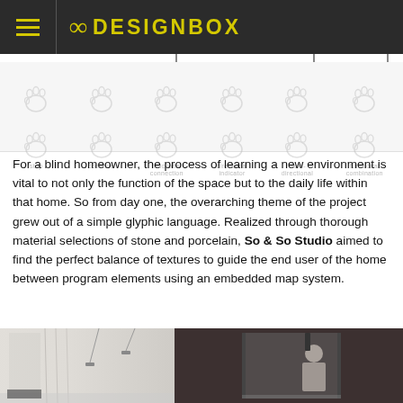8 DESIGNBOX
[Figure (infographic): Six foot/footprint icons in a row with labels: stop, continue, functional connection, directional indicator, multi-directional, functional combination]
For a blind homeowner, the process of learning a new environment is vital to not only the function of the space but to the daily life within that home. So from day one, the overarching theme of the project grew out of a simple glyphic language. Realized through thorough material selections of stone and porcelain, So & So Studio aimed to find the perfect balance of textures to guide the end user of the home between program elements using an embedded map system.
[Figure (photo): Two photos side by side: left shows a bright modern interior with pendant lights and curtains; right shows a person in a modern shower/bathroom with dark walls]